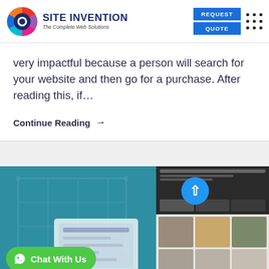SITE INVENTION — The Complete Web Solutions
very impactful because a person will search for your website and then go for a purchase. After reading this, if…
Continue Reading →
[Figure (screenshot): Bottom banner with teal background showing blueprint lines, a device mockup, a green WhatsApp Chat With Us button, a blue up-arrow button, and website screenshot thumbnails on the right.]